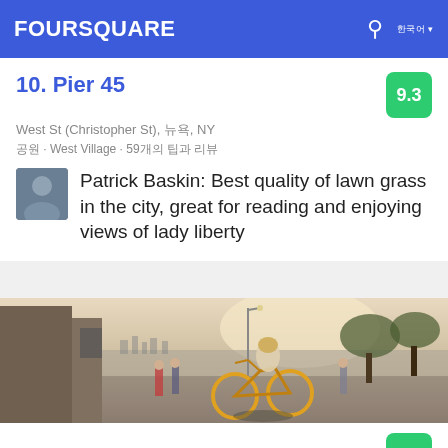FOURSQUARE
10. Pier 45
West St (Christopher St), 뉴욕, NY
공원 · West Village · 59개의 팁과 리뷰
Patrick Baskin: Best quality of lawn grass in the city, great for reading and enjoying views of lady liberty
[Figure (photo): Photo of a riverside park/promenade with a cyclist on a yellow bicycle in the foreground, people walking, trees, and a city skyline across the water in the background.]
11. Hudson River Park